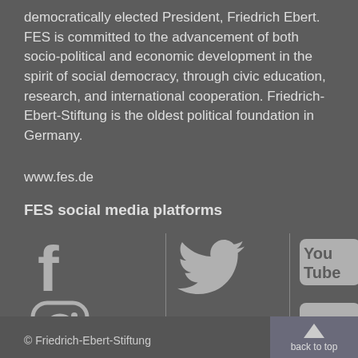democratically elected President, Friedrich Ebert. FES is committed to the advancement of both socio-political and economic development in the spirit of social democracy, through civic education, research, and international cooperation. Friedrich-Ebert-Stiftung is the oldest political foundation in Germany.
www.fes.de
FES social media platforms
[Figure (other): Social media icons arranged in a 2x3 grid with vertical dividers: Facebook, Instagram, Twitter/bird, SoundCloud, YouTube, LinkedIn]
© Friedrich-Ebert-Stiftung | back to top